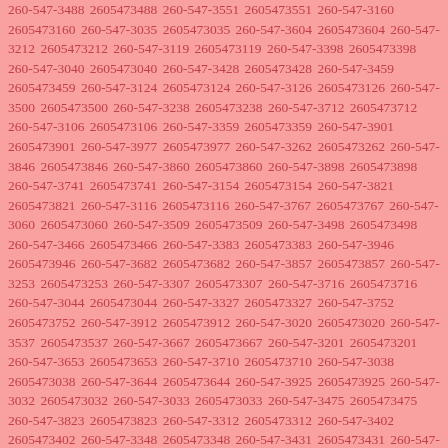260-547-3488 2605473488 260-547-3551 2605473551 260-547-3160 2605473160 260-547-3035 2605473035 260-547-3604 2605473604 260-547-3212 2605473212 260-547-3119 2605473119 260-547-3398 2605473398 260-547-3040 2605473040 260-547-3428 2605473428 260-547-3459 2605473459 260-547-3124 2605473124 260-547-3126 2605473126 260-547-3500 2605473500 260-547-3238 2605473238 260-547-3712 2605473712 260-547-3106 2605473106 260-547-3359 2605473359 260-547-3901 2605473901 260-547-3977 2605473977 260-547-3262 2605473262 260-547-3846 2605473846 260-547-3860 2605473860 260-547-3898 2605473898 260-547-3741 2605473741 260-547-3154 2605473154 260-547-3821 2605473821 260-547-3116 2605473116 260-547-3767 2605473767 260-547-3060 2605473060 260-547-3509 2605473509 260-547-3498 2605473498 260-547-3466 2605473466 260-547-3383 2605473383 260-547-3946 2605473946 260-547-3682 2605473682 260-547-3857 2605473857 260-547-3253 2605473253 260-547-3307 2605473307 260-547-3716 2605473716 260-547-3044 2605473044 260-547-3327 2605473327 260-547-3752 2605473752 260-547-3912 2605473912 260-547-3020 2605473020 260-547-3537 2605473537 260-547-3667 2605473667 260-547-3201 2605473201 260-547-3653 2605473653 260-547-3710 2605473710 260-547-3038 2605473038 260-547-3644 2605473644 260-547-3925 2605473925 260-547-3032 2605473032 260-547-3033 2605473033 260-547-3475 2605473475 260-547-3823 2605473823 260-547-3312 2605473312 260-547-3402 2605473402 260-547-3348 2605473348 260-547-3431 2605473431 260-547-3029 2605473029 260-547-3387 2605473387